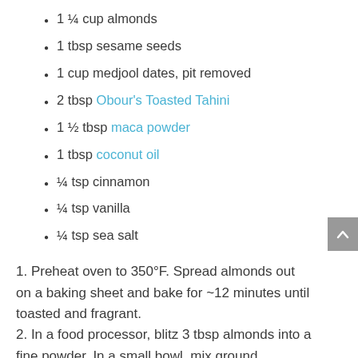1 ¼ cup almonds
1 tbsp sesame seeds
1 cup medjool dates, pit removed
2 tbsp Obour's Toasted Tahini
1 ½ tbsp maca powder
1 tbsp coconut oil
¼ tsp cinnamon
¼ tsp vanilla
¼ tsp sea salt
1. Preheat oven to 350°F. Spread almonds out on a baking sheet and bake for ~12 minutes until toasted and fragrant.
2. In a food processor, blitz 3 tbsp almonds into a fine powder. In a small bowl, mix ground almonds and sesame seeds. Set aside for later.
3. Combine remaining ingredients into food processor. Blend